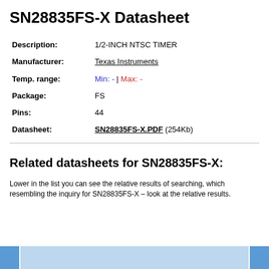SN28835FS-X Datasheet
| Field | Value |
| --- | --- |
| Description: | 1/2-INCH NTSC TIMER |
| Manufacturer: | Texas Instruments |
| Temp. range: | Min: - | Max: - |
| Package: | FS |
| Pins: | 44 |
| Datasheet: | SN28835FS-X.PDF (254Kb) |
Related datasheets for SN28835FS-X:
Lower in the list you can see the relative results of searching, which resembling the inquiry for SN28835FS-X – look at the relative results.
[Figure (other): Partial view of related datasheet result strips with blue colored blocks]